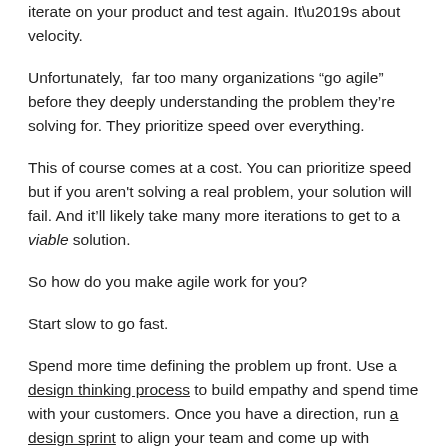iterate on your product and test again. It’s about velocity.
Unfortunately, far too many organizations “go agile” before they deeply understanding the problem they’re solving for. They prioritize speed over everything.
This of course comes at a cost. You can prioritize speed but if you aren't solving a real problem, your solution will fail. And it’ll likely take many more iterations to get to a viable solution.
So how do you make agile work for you?
Start slow to go fast.
Spend more time defining the problem up front. Use a design thinking process to build empathy and spend time with your customers. Once you have a direction, run a design sprint to align your team and come up with possible